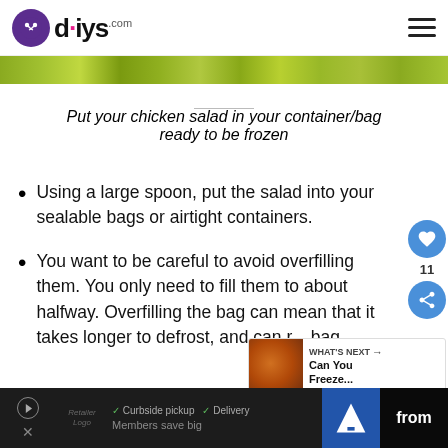diys.com
[Figure (photo): Top portion of a food/salad image strip visible at top of content area]
Put your chicken salad in your container/bag ready to be frozen
Using a large spoon, put the salad into your sealable bags or airtight containers.
You want to be careful to avoid overfilling them. You only need to fill them to about halfway. Overfilling the bag can mean that it takes longer to defrost, and can r... bag.
[Figure (photo): What's Next widget showing a small food photo with text 'WHAT'S NEXT → Can You Freeze...']
Curbside pickup  Delivery  Members save big